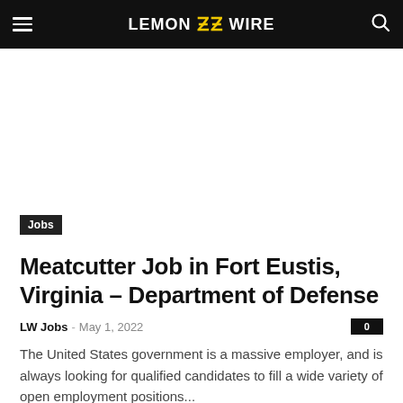LEMON ZZ WIRE
Jobs
Meatcutter Job in Fort Eustis, Virginia – Department of Defense
LW Jobs  –  May 1, 2022   0
The United States government is a massive employer, and is always looking for qualified candidates to fill a wide variety of open employment positions...